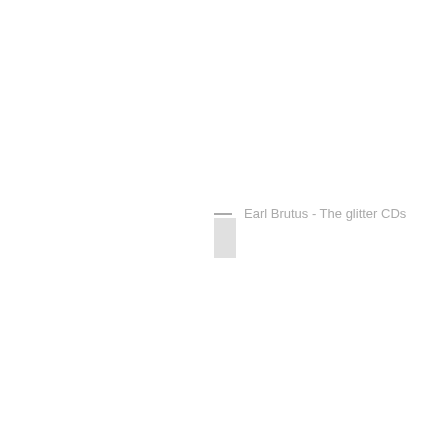— Earl Brutus - The glitter CDs